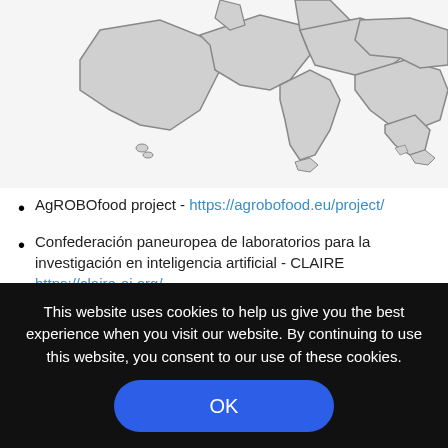[Figure (map): Partial map of Europe showing country outlines in light gray with darker gray borders/coastal areas, cropped at top]
AgROBOfood project - https://agrobofood.eu/project/
Confederación paneuropea de laboratorios para la investigación en inteligencia artificial - CLAIRE https://claire-ai.org/
DIH² project - http://www.dih-squared.eu
This website uses cookies to help us give you the best experience when you visit our website. By continuing to use this website, you consent to our use of these cookies.